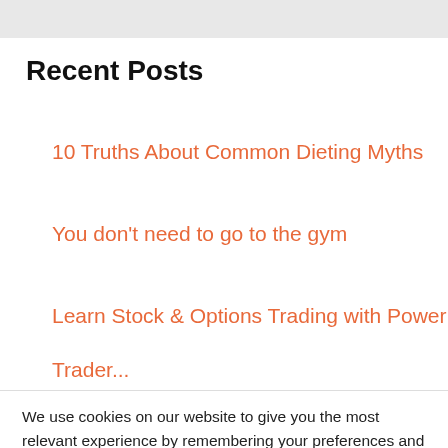[Figure (other): Gray decorative bar at top of page]
Recent Posts
10 Truths About Common Dieting Myths
You don't need to go to the gym
Learn Stock & Options Trading with Power
Trader (partially visible, cut off)
We use cookies on our website to give you the most relevant experience by remembering your preferences and repeat visits. By clicking "Accept All", you consent to the use of ALL the cookies. However, you may visit "Cookie Settings" to provide a controlled consent.
Cookie Settings | Accept All